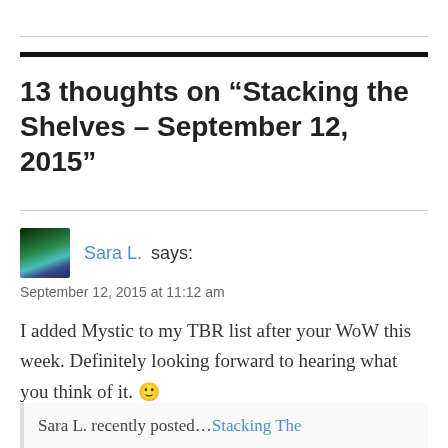13 thoughts on “Stacking the Shelves – September 12, 2015”
Sara L. says:
September 12, 2015 at 11:12 am

I added Mystic to my TBR list after your WoW this week. Definitely looking forward to hearing what you think of it. 🙂
I also posted a STS today. The link is below, if you’re interested.
Sara L. recently posted…Stacking The